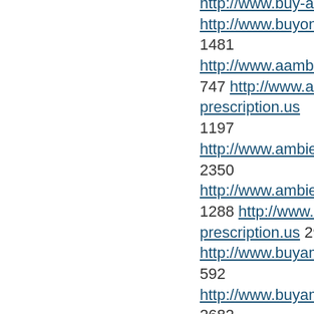http://www.buy-ambien.us 2468 http://www.buyonlineambien... 1481 http://www.aambien.us 747 http://www.ambien-without-prescription.us 1197 http://www.ambienbuy.us 2350 http://www.ambiennoprescription... 1288 http://www.buy-ambien-without-prescription.us 2982 http://www.buyambiens.us 592 http://www.buyambienwith... 2682 http://www.purchaseambie... 241 http://www.ambien-guide.com 1457 http://www.ambien-no-prescription.com 1869 http://www.ambien-...